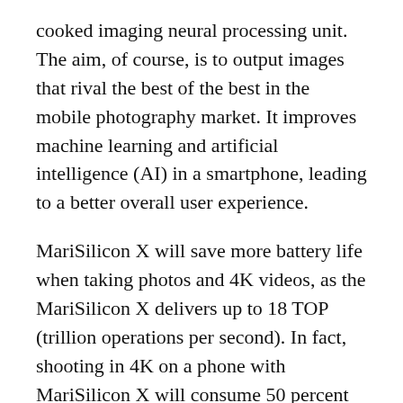cooked imaging neural processing unit. The aim, of course, is to output images that rival the best of the best in the mobile photography market. It improves machine learning and artificial intelligence (AI) in a smartphone, leading to a better overall user experience.
MariSilicon X will save more battery life when taking photos and 4K videos, as the MariSilicon X delivers up to 18 TOP (trillion operations per second). In fact, shooting in 4K on a phone with MariSilicon X will consume 50 percent less power.
The next OPPO smartphones powered by the new NPU will enable users to produce photos with HDR at four times better – at 20 bit, 120db dynamic range, or 1 million to 1 contrast ratio.
Likewise, along with AI features like noise reduction